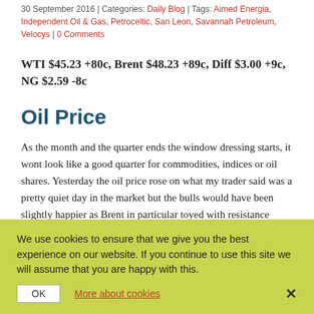30 September 2016 | Categories: Daily Blog | Tags: Aimed Energia, Independent Oil & Gas, Petroceltic, San Leon, Savannah Petroleum, Velocys | 0 Comments
WTI $45.23 +80c, Brent $48.23 +89c, Diff $3.00 +9c, NG $2.59 -8c
Oil Price
As the month and the quarter ends the window dressing starts, it wont look like a good quarter for commodities, indices or oil shares. Yesterday the oil price rose on what my trader said was a pretty quiet day in the market but the bulls would have been slightly happier as Brent in particular toyed with resistance around $47.50 ish and rallied off it. The API was some of that late giving affect the US experience 30 cents. The headline numbers looked bad with a stock build of 4.6m barrels against consensus of all square but the draw at Cushing of 1.2m barrels tended to support the Genscape numbers from Monday. Gasoline built by
We use cookies to ensure that we give you the best experience on our website. If you continue to use this site we will assume that you are happy with this.